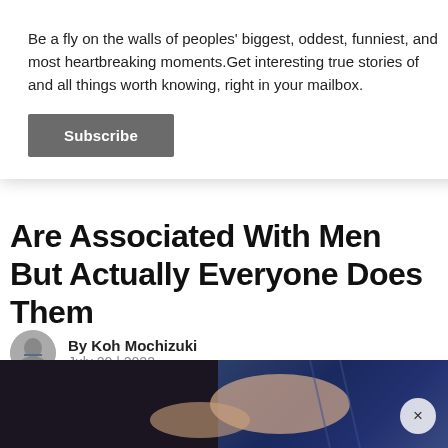Be a fly on the walls of peoples' biggest, oddest, funniest, and most heartbreaking moments.Get interesting true stories of and all things worth knowing, right in your mailbox.
Subscribe
Are Associated With Men But Actually Everyone Does Them
By Koh Mochizuki
July 20 | 2022
[Figure (photo): Hero image showing a person wearing dark floral top and blue jeans, hands visible near waist area. Partially visible below article header.]